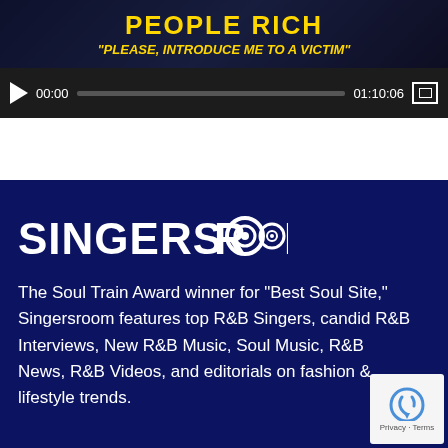[Figure (screenshot): Video player showing a media player with dark background. Title bar shows 'PEOPLE RICH' and subtitle '"PLEASE, INTRODUCE ME TO A VICTIM"'. Player controls show play button, timestamp 00:00, progress bar, end time 01:10:06, and fullscreen button.]
[Figure (logo): Singersroom logo in white bold text on dark navy blue background]
The Soul Train Award winner for "Best Soul Site," Singersroom features top R&B Singers, candid R&B Interviews, New R&B Music, Soul Music, R&B News, R&B Videos, and editorials on fashion & lifestyle trends.